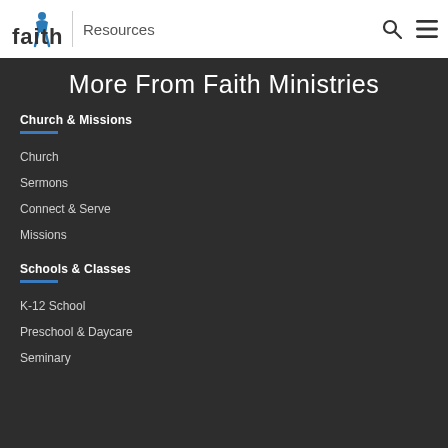faith | Resources
More From Faith Ministries
Church & Missions
Church
Sermons
Connect & Serve
Missions
Schools & Classes
K-12 School
Preschool & Daycare
Seminary